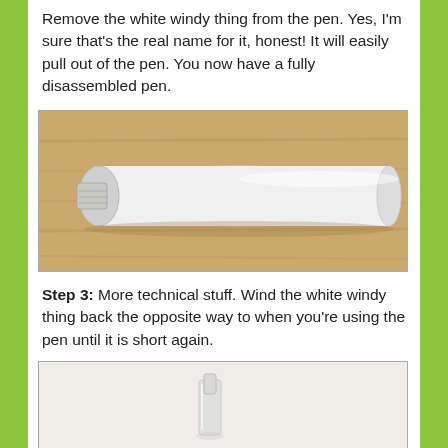Remove the white windy thing from the pen. Yes, I'm sure that's the real name for it, honest! It will easily pull out of the pen. You now have a fully disassembled pen.
[Figure (photo): Photo of a white cylindrical pen component (white windy thing) lying on a wooden surface]
Step 3: More technical stuff. Wind the white windy thing back the opposite way to when you're using the pen until it is short again.
[Figure (photo): Photo showing a small white pen component on a light background, partially visible]